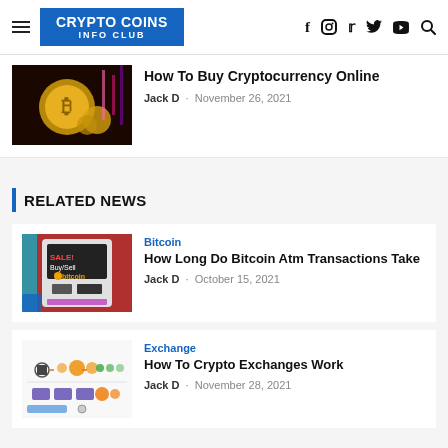CRYPTO COINS INFO CLUB
How To Buy Cryptocurrency Online
Jack D - November 26, 2021
RELATED NEWS
Bitcoin
How Long Do Bitcoin Atm Transactions Take
Jack D - October 15, 2021
Exchange
How To Crypto Exchanges Work
Jack D - November 28, 2021